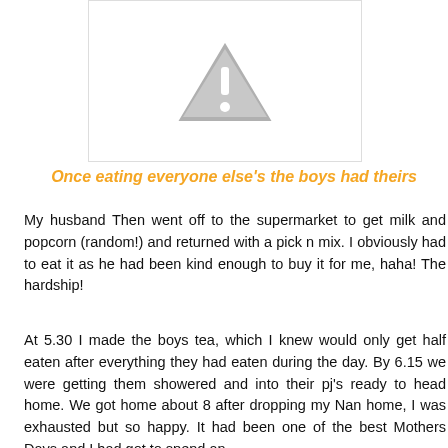[Figure (other): Image placeholder with a grey warning/image-not-available triangle icon with exclamation mark on white background with light grey border]
Once eating everyone else's the boys had theirs
My husband Then went off to the supermarket to get milk and popcorn (random!) and returned with a pick n mix. I obviously had to eat it as he had been kind enough to buy it for me, haha! The hardship!
At 5.30 I made the boys tea, which I knew would only get half eaten after everything they had eaten during the day. By 6.15 we were getting them showered and into their pj's ready to head home. We got home about 8 after dropping my Nan home, I was exhausted but so happy. It had been one of the best Mothers Days and I had got to spend an